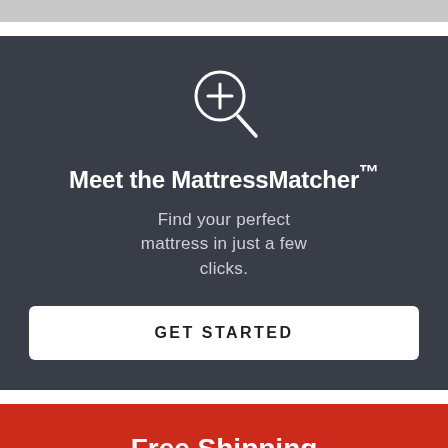[Figure (illustration): Magnifying glass icon with plus sign, white outline on dark background]
Meet the MattressMatcher™
Find your perfect mattress in just a few clicks.
GET STARTED
Free Shipping
Mattress Firm offers our customers free, safe shipping